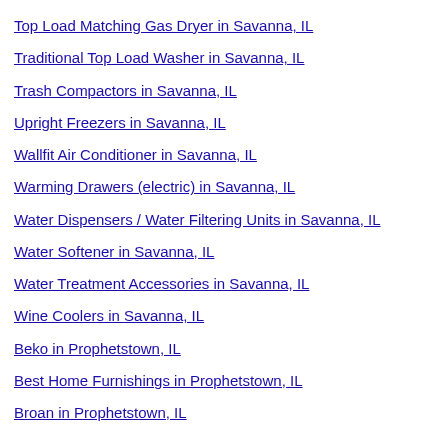Top Load Matching Gas Dryer in Savanna, IL
Traditional Top Load Washer in Savanna, IL
Trash Compactors in Savanna, IL
Upright Freezers in Savanna, IL
Wallfit Air Conditioner in Savanna, IL
Warming Drawers (electric) in Savanna, IL
Water Dispensers / Water Filtering Units in Savanna, IL
Water Softener in Savanna, IL
Water Treatment Accessories in Savanna, IL
Wine Coolers in Savanna, IL
Beko in Prophetstown, IL
Best Home Furnishings in Prophetstown, IL
Broan in Prophetstown, IL